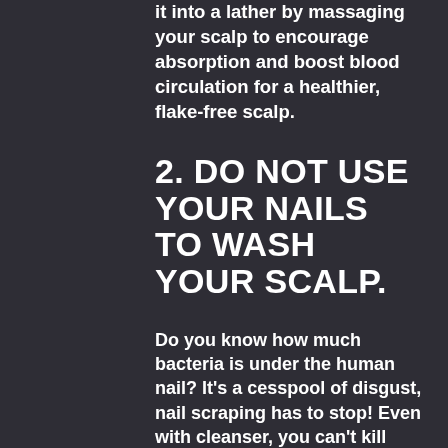it into a lather by massaging your scalp to encourage absorption and boost blood circulation for a healthier, flake-free scalp.
2. DO NOT USE YOUR NAILS TO WASH YOUR SCALP.
Do you know how much bacteria is under the human nail? It's a cesspool of disgust, nail scraping has to stop! Even with cleanser, you can't kill every germ living under your nails. We all love a good scalp massage, but be aware of how aggressively